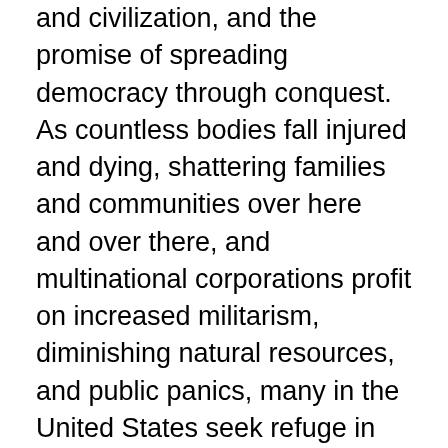and civilization, and the promise of spreading democracy through conquest. As countless bodies fall injured and dying, shattering families and communities over here and over there, and multinational corporations profit on increased militarism, diminishing natural resources, and public panics, many in the United States seek refuge in fantasy worlds of virtual play.
Offering a more interactive cultural medium that provides players with new scenarios, locales, and places of play weekly, virtual reality has taken the lead in terms of providing a sense of security and power otherwise unavailable in this currently unstable moment. Significantly, these lucid spaces are not all fun and games, but deadly serious reiterations of the networks of power and the ideologies of difference that drive so called war on terror and less recognized campaigns against